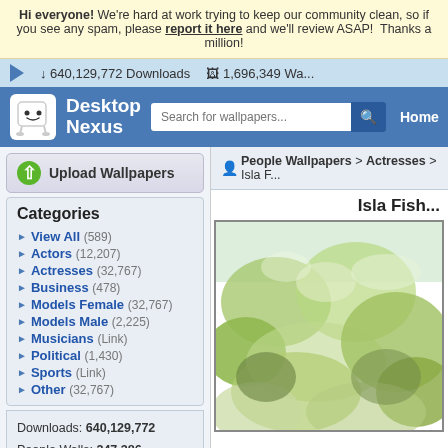Hi everyone! We're hard at work trying to keep our community clean, so if you see any spam, please report it here and we'll review ASAP! Thanks a million!
640,129,772 Downloads   1,696,349 Wa...
[Figure (screenshot): Desktop Nexus website header with logo, search bar, and Home navigation]
Upload Wallpapers
People Wallpapers > Actresses > Isla F...
Categories
View All (589)
Actors (12,207)
Actresses (32,767)
Business (478)
Models Female (32,767)
Models Male (2,225)
Musicians (Link)
Political (1,430)
Sports (Link)
Other (32,767)
Downloads: 640,129,772
People Walls: 247,386
All Wallpapers: 1,696,349
Tag Count: 9,948,936
Isla Fish...
[Figure (photo): Partial photo of Isla Fisher, with green foliage visible in the background]